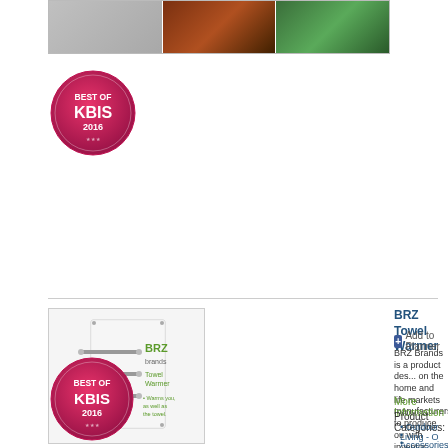[Figure (photo): Top image strip showing three product/scene photos side by side]
[Figure (logo): Best of KBIS 2016 circular badge - top]
[Figure (photo): BRZ Towel Warmer product advertisement image showing towel warmer with BRZ Brands logo and bullet points]
BRZ Towel Warmer
Add to Planner
BRZ Brands is a product designed on the home and life markets manufacturers to produce ou with inventor...
More Information
Product Categories:
Outdoor Living - O
Accessories - Tow
Accessories - Bath
[Figure (logo): Best of KBIS 2016 circular badge - bottom]